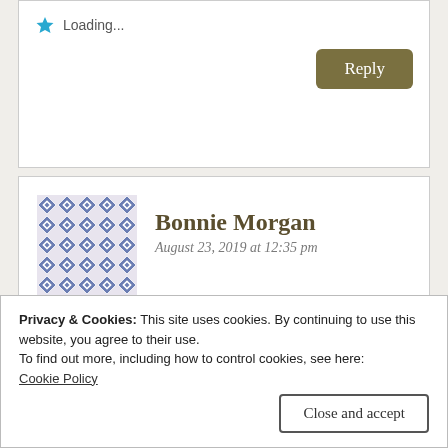Loading...
Reply
Bonnie Morgan
August 23, 2019 at 12:35 pm
[Figure (illustration): Avatar image with geometric diamond/diamond tile pattern in blue and white]
What a nice break from the heat. Lovely views and your photos are so pretty. Makes me want to get away to the mountains.
Privacy & Cookies: This site uses cookies. By continuing to use this website, you agree to their use.
To find out more, including how to control cookies, see here:
Cookie Policy
Close and accept